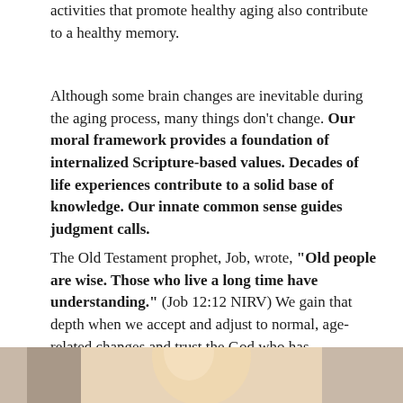activities that promote healthy aging also contribute to a healthy memory.
Although some brain changes are inevitable during the aging process, many things don't change. Our moral framework provides a foundation of internalized Scripture-based values. Decades of life experiences contribute to a solid base of knowledge. Our innate common sense guides judgment calls.
The Old Testament prophet, Job, wrote, "Old people are wise. Those who live a long time have understanding." (Job 12:12 NIRV) We gain that depth when we accept and adjust to normal, age-related changes and trust the God who has demonstrated his faithfulness.
[Figure (photo): Partial bottom strip of a photo showing what appears to be a person, cropped at the bottom of the page]